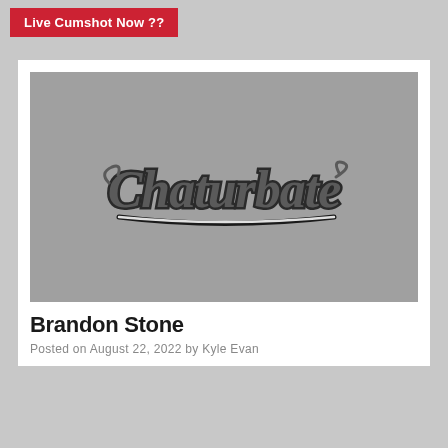[Figure (screenshot): Red button banner with white text reading 'Live Cumshot Now ??']
[Figure (logo): Chaturbate logo placeholder image on grey background]
Brandon Stone
Posted on August 22, 2022 by Kyle Evan